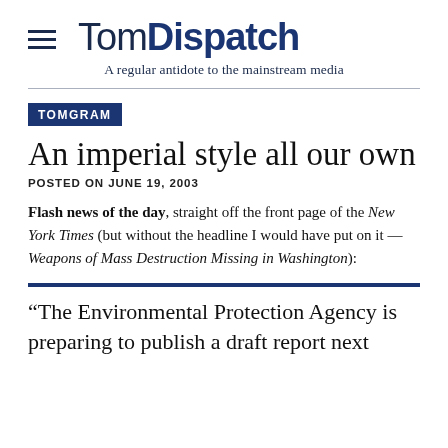TomDispatch — A regular antidote to the mainstream media
TOMGRAM
An imperial style all our own
POSTED ON JUNE 19, 2003
Flash news of the day, straight off the front page of the New York Times (but without the headline I would have put on it — Weapons of Mass Destruction Missing in Washington):
“The Environmental Protection Agency is preparing to publish a draft report next